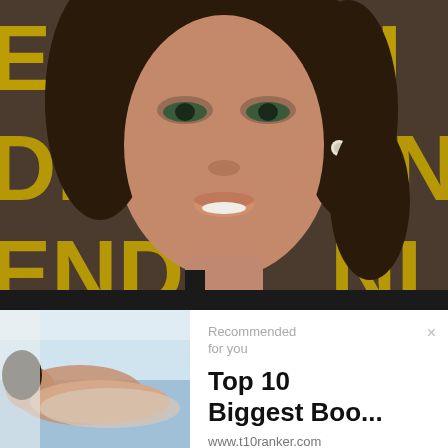[Figure (photo): Close-up photo of a woman with dark hair pulled back, green eyes, wearing a black top and diamond earrings. Background shows gold/yellow letters spelling FENDI on a dark backdrop.]
[Figure (photo): Smaller photo on the bottom-left showing a woman reclining outdoors against a light background.]
Recommended for you
Top 10 Biggest Boo...
www.t10ranker.com